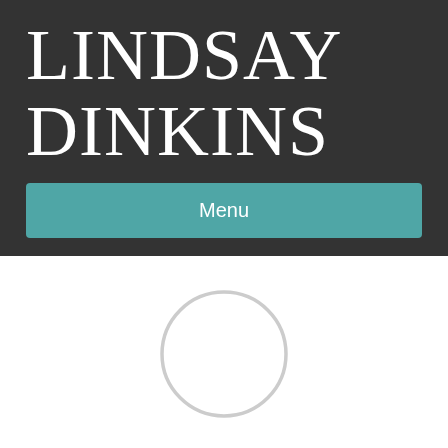LINDSAY DINKINS
Menu
[Figure (illustration): A circular placeholder image outline (light grey circle, no fill content)]
Improve Your Google Rankings